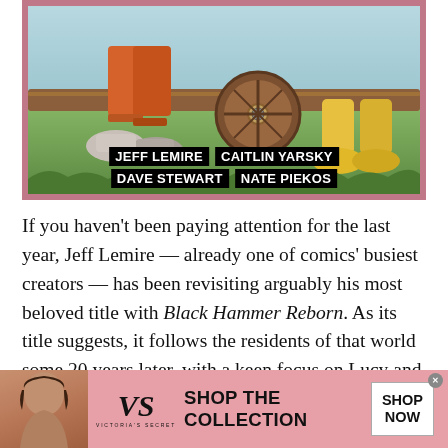[Figure (illustration): Comic book cover art showing lower half of a character in orange pants and grey sneakers next to a large wooden wheel, with yellow boots visible at right. Background shows sky and greenery.]
JEFF LEMIRE   CAITLIN YARSKY
DAVE STEWART   NATE PIEKOS
If you haven’t been paying attention for the last year, Jeff Lemire — already one of comics’ busiest creators — has been revisiting arguably his most beloved title with Black Hammer Reborn. As its title suggests, it follows the residents of that world some 20 years later, with a keen focus on Lucy and her life out in the suburbs. By the time we get to issue #11, though, the whole team’s in on the action, and they’re trapped (yet again) in some bonkers
[Figure (advertisement): Victoria's Secret advertisement with a model, VS logo, text 'SHOP THE COLLECTION', and a 'SHOP NOW' button on a pink background.]